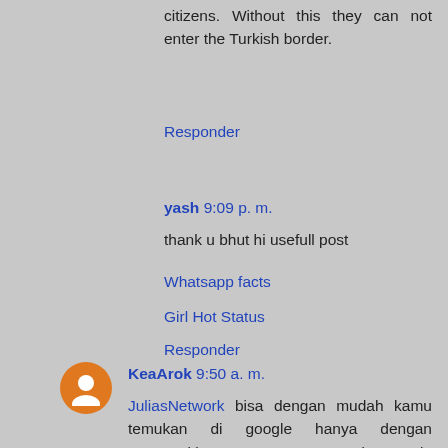citizens. Without this they can not enter the Turkish border.
Responder
yash 9:09 p. m.
thank u bhut hi usefull post
Whatsapp facts
Girl Hot Status
Responder
KeaArok 9:50 a. m.
JuliasNetwork bisa dengan mudah kamu temukan di google hanya dengan memasukkan "OTOSLOT" pada mesin pencarian di google. Kamu juga bisa ikutin segala jenis bonus dan event yang ada pada situs